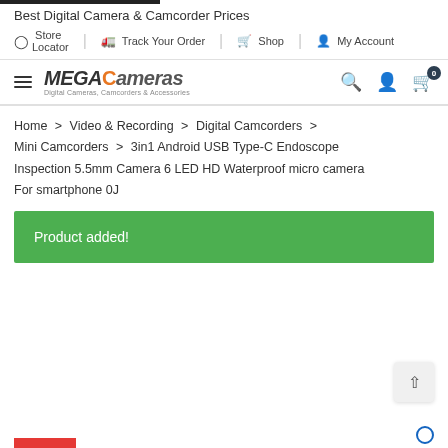Best Digital Camera & Camcorder Prices
Store Locator | Track Your Order | Shop | My Account
[Figure (logo): MEGAcameras logo with orange lens icon. Subtitle: Digital Cameras, Camcorders & Accessories. Hamburger menu, search icon, user icon, and cart icon with badge 0.]
Home > Video & Recording > Digital Camcorders > Mini Camcorders > 3in1 Android USB Type-C Endoscope Inspection 5.5mm Camera 6 LED HD Waterproof micro camera For smartphone 0J
Product added!